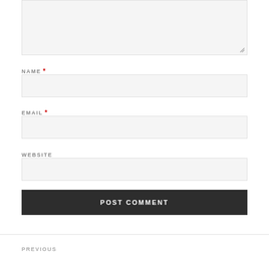[Figure (screenshot): Text area input box (top portion cut off)]
NAME *
[Figure (screenshot): Name input field box]
EMAIL *
[Figure (screenshot): Email input field box]
WEBSITE
[Figure (screenshot): Website input field box]
POST COMMENT
PREVIOUS